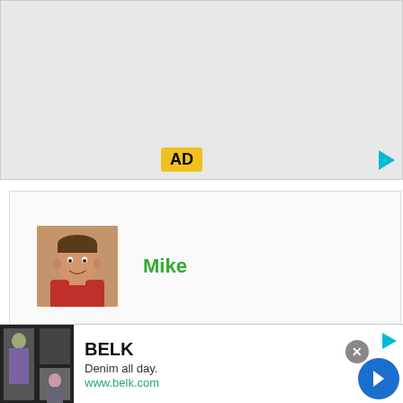[Figure (other): Top advertisement banner area, light gray background with yellow AD label badge and cyan play button icon in bottom right]
[Figure (photo): Author profile photo showing a man with short hair wearing a red shirt, against a warm brown/tan background]
Mike
A water heater in my old house went as we were preparing to put the house on the market, so the
[Figure (other): Bottom advertisement banner for BELK: 'Denim all day. www.belk.com' with fashion imagery on left, close X button, and blue circular next arrow button]